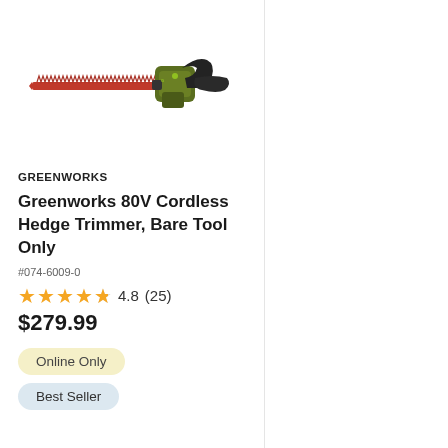[Figure (photo): Greenworks 80V cordless hedge trimmer with green body and red serrated blade, shown in profile view against white background]
GREENWORKS
Greenworks 80V Cordless Hedge Trimmer, Bare Tool Only
#074-6009-0
4.8 (25)
$279.99
Online Only
Best Seller